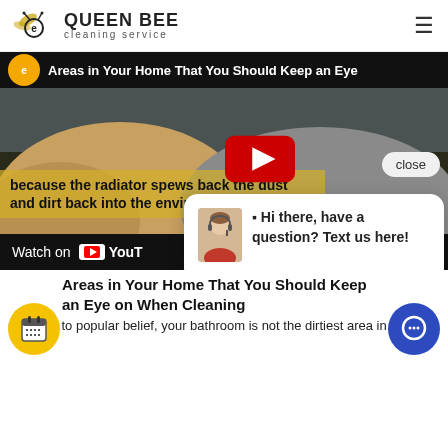[Figure (logo): Queen Bee Cleaning Service logo with bee icon and text]
[Figure (screenshot): YouTube video player showing a cleaning service video titled 'Areas in Your Home That You Should Keep an Eye on' with text overlay 'because the radiator spews back the dust and dirt back into the environment', red YouTube play button, 'Watch on YouTube' bar at the bottom, and a 'close' button]
[Figure (infographic): Chat popup overlay with headset operator avatar and text: Hi there, have a question? Text us here!]
Areas in Your Home That You Should Keep an Eye on When Cleaning
Contrary to popular belief, your bathroom is not the dirtiest area in